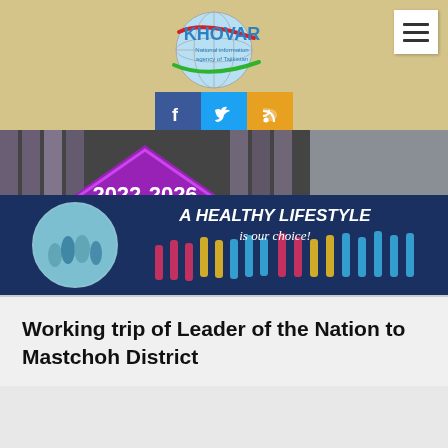[Figure (logo): KHOVAR National Information Agency of Tajikistan logo with globe and colored swooshes]
[Figure (illustration): 2022-2026 Years of Industrial Development banner with textile machinery background and purple diamond shape]
[Figure (illustration): A Healthy Lifestyle is our choice! banner with silhouetted athletes and circular photo of people]
Working trip of Leader of the Nation to Mastchoh District